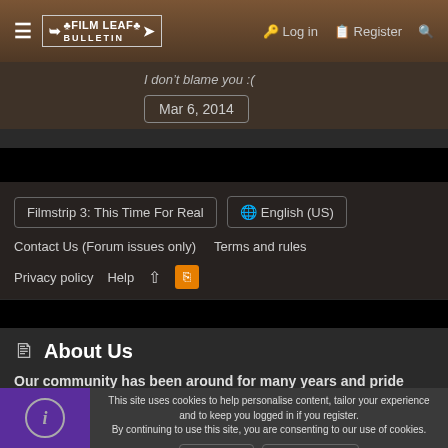Log in | Register
I don't blame you :(
Mar 6, 2014
Filmstrip 3: This Time For Real | English (US) | Contact Us (Forum issues only) | Terms and rules | Privacy policy | Help
About Us
Our community has been around for many years and pride ourselves on
This site uses cookies to help personalise content, tailor your experience and to keep you logged in if you register.
By continuing to use this site, you are consenting to our use of cookies.
Accept | Learn more...